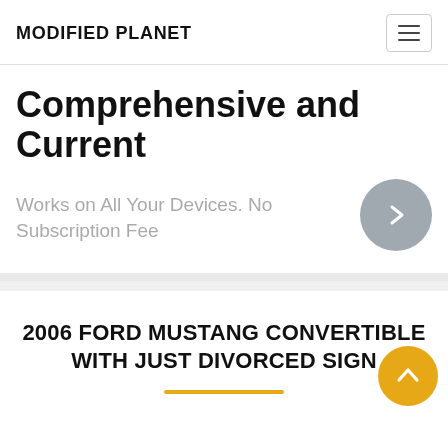MODIFIED PLANET
Comprehensive and Current
Works on All Your Devices. No Subscription Fee
2006 FORD MUSTANG CONVERTIBLE WITH JUST DIVORCED SIGN